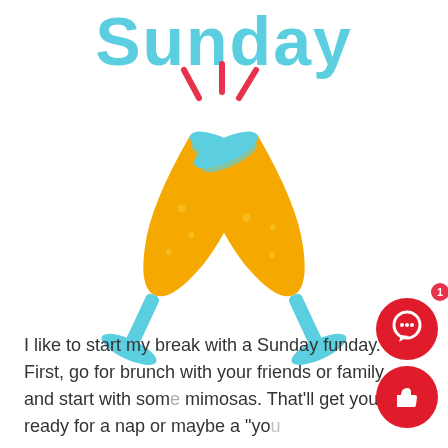Sunday
[Figure (illustration): Two champagne flutes clinking together with orange/gold liquid inside, blue rims, and red/pink clinking lines at the top center]
I like to start my break with a Sunday funday. First, go for brunch with your friends or family and start with some mimosas. That'll get you ready for a nap or maybe a "yo